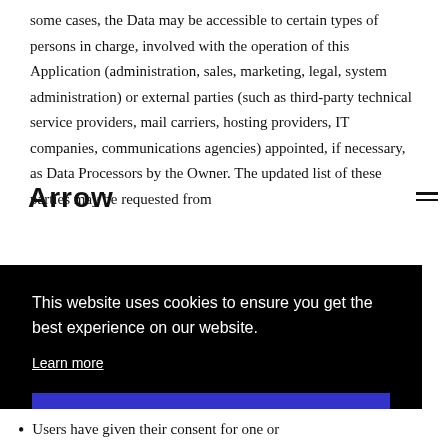some cases, the Data may be accessible to certain types of persons in charge, involved with the operation of this Application (administration, sales, marketing, legal, system administration) or external parties (such as third-party technical service providers, mail carriers, hosting providers, IT companies, communications agencies) appointed, if necessary, as Data Processors by the Owner. The updated list of these parties may be requested from
Arrow
This website uses cookies to ensure you get the best experience on our website. Learn more Got it!
Users have given their consent for one or